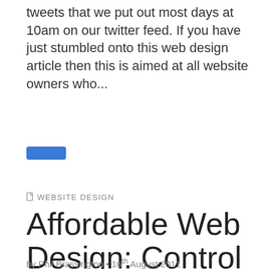tweets that we put out most days at 10am on our twitter feed. If you have just stumbled onto this web design article then this is aimed at all website owners who...
[Figure (other): A small blue rounded rectangle button/link element]
WEBSITE DESIGN
Affordable Web Design: Control Wild Web Budgets with Five Easy to Follow Tips
by Phil Brassington • 16th August 2011